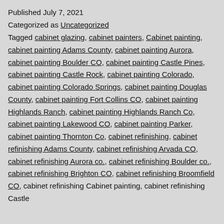Published July 7, 2021
Categorized as Uncategorized
Tagged cabinet glazing, cabinet painters, Cabinet painting, cabinet painting Adams County, cabinet painting Aurora, cabinet painting Boulder CO, cabinet painting Castle Pines, cabinet painting Castle Rock, cabinet painting Colorado, cabinet painting Colorado Springs, cabinet painting Douglas County, cabinet painting Fort Collins CO, cabinet painting Highlands Ranch, cabinet painting Highlands Ranch Co, cabinet painting Lakewood CO, cabinet painting Parker, cabinet painting Thornton Co, cabinet refinishing, cabinet refinishing Adams County, cabinet refinishing Arvada CO, cabinet refinishing Aurora co., cabinet refinishing Boulder co., cabinet refinishing Brighton CO, cabinet refinishing Broomfield CO, cabinet refinishing Cabinet painting, cabinet refinishing Castle